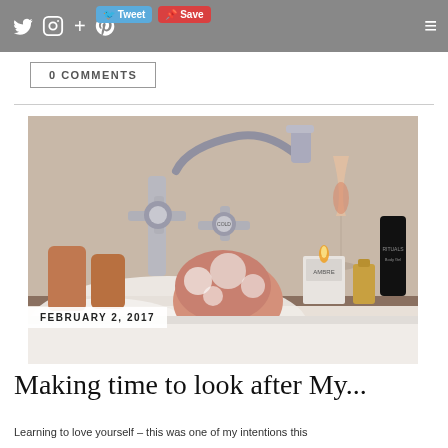Twitter Instagram + Pinterest | Tweet Save | Menu
0 COMMENTS
[Figure (photo): A bubble bath scene with chrome taps, a hand in bubbles, a glass of rosé wine, a lit candle in a glass jar labelled 'Ambre', a small oil bottle, and a black tube of Rituals body gel on the side of the bath.]
FEBRUARY 2, 2017
Making time to look after My...
Learning to love yourself – this was one of my intentions this